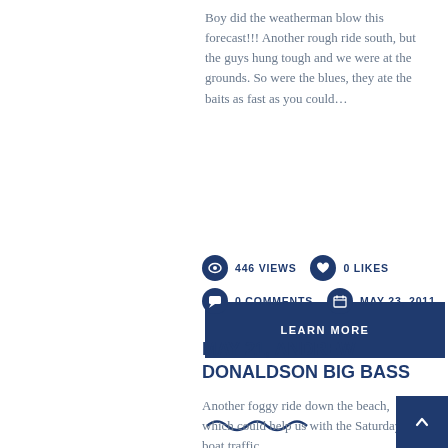Boy did the weatherman blow this forecast!!! Another rough ride south, but the guys hung tough and we were at the grounds. So were the blues, they ate the baits as fast as you could...
LEARN MORE
446 VIEWS   0 LIKES   0 COMMENTS   MAY 23, 2011
MAY 21, ANDREW DONALDSON BIG BASS
Another foggy ride down the beach, which could help us with the Saturday boat traffic